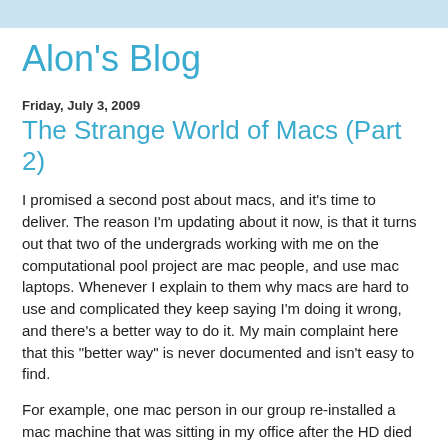Alon's Blog
Friday, July 3, 2009
The Strange World of Macs (Part 2)
I promised a second post about macs, and it's time to deliver. The reason I'm updating about it now, is that it turns out that two of the undergrads working with me on the computational pool project are mac people, and use mac laptops. Whenever I explain to them why macs are hard to use and complicated they keep saying I'm doing it wrong, and there's a better way to do it. My main complaint here that this "better way" is never documented and isn't easy to find.
For example, one mac person in our group re-installed a mac machine that was sitting in my office after the HD died (it required a trip to the shop to replace, since mac hardware is hard to maintain, and this is desktop!). After he left, I tried using his machine, the first thing I was greeted with was a